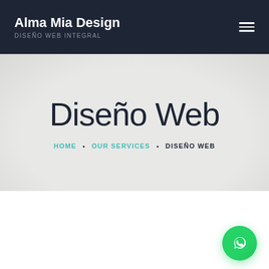Alma Mia Design — DISEÑO WEB INTEGRAL
Diseño Web
HOME · OUR SERVICES · DISEÑO WEB
[Figure (other): WhatsApp floating contact button (green circle with phone/chat icon)]